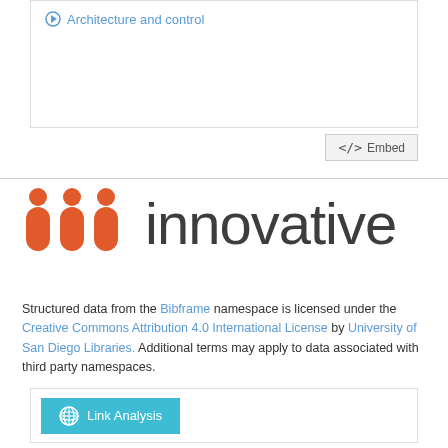Architecture and control
<> Embed
[Figure (logo): Innovative Interfaces logo with three red bar chart pillars and the word 'innovative' in dark gray]
Structured data from the Bibframe namespace is licensed under the Creative Commons Attribution 4.0 International License by University of San Diego Libraries. Additional terms may apply to data associated with third party namespaces.
Link Analysis